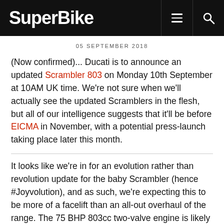SuperBike
05 SEPTEMBER 2018
(Now confirmed)... Ducati is to announce an updated Scrambler 803 on Monday 10th September at 10AM UK time. We're not sure when we'll actually see the updated Scramblers in the flesh, but all of our intelligence suggests that it'll be before EICMA in November, with a potential press-launch taking place later this month.
It looks like we're in for an evolution rather than revolution update for the baby Scrambler (hence #Joyvolution), and as such, we're expecting this to be more of a facelift than an all-out overhaul of the range. The 75 BHP 803cc two-valve engine is likely to remain